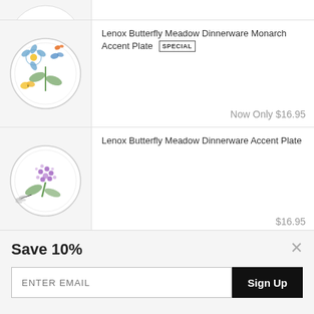[Figure (photo): Partial view of a plate product image at top, mostly cropped]
Lenox Butterfly Meadow Dinnerware Monarch Accent Plate SPECIAL
Now Only $16.95
[Figure (photo): White plate with purple flowers and dragonfly illustration]
Lenox Butterfly Meadow Dinnerware Accent Plate
$16.95
Lenox Butterfly Meadow Dinnerware
Save 10%
ENTER EMAIL
Sign Up